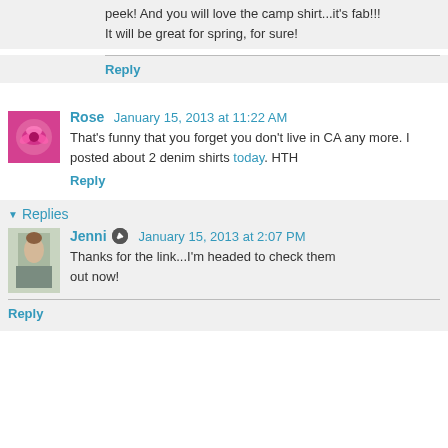peek! And you will love the camp shirt...it's fab!!! It will be great for spring, for sure!
Reply
Rose  January 15, 2013 at 11:22 AM
That's funny that you forget you don't live in CA any more. I posted about 2 denim shirts today. HTH
Reply
▼ Replies
Jenni  January 15, 2013 at 2:07 PM
Thanks for the link...I'm headed to check them out now!
Reply